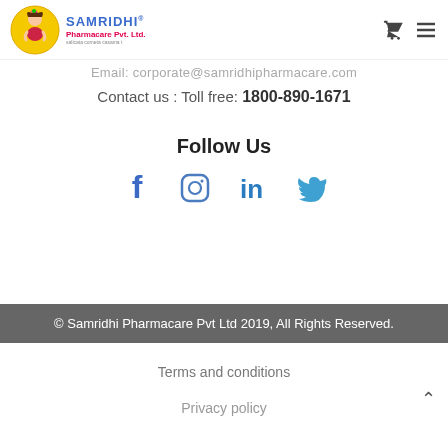[Figure (logo): Samridhi Pharmacare Pvt. Ltd. logo with cartoon girl and company name]
Email: corporate@samridhipharmacare.com
Contact us : Toll free: 1800-890-1671
Follow Us
[Figure (illustration): Social media icons: Facebook, Instagram, LinkedIn, Twitter]
© Samridhi Pharmacare Pvt Ltd 2019, All Rights Reserved.
Terms and conditions
Privacy policy